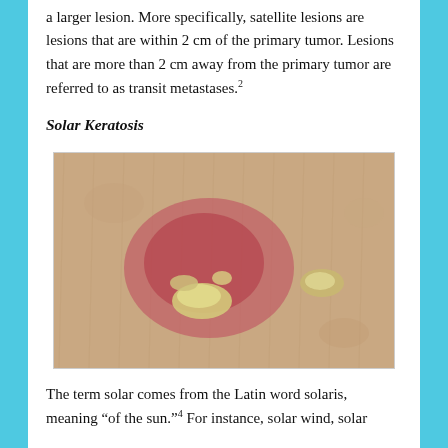a larger lesion. More specifically, satellite lesions are lesions that are within 2 cm of the primary tumor. Lesions that are more than 2 cm away from the primary tumor are referred to as transit metastases.²
Solar Keratosis
[Figure (photo): Close-up photograph of skin showing solar keratosis lesion — a reddish, inflamed area with rough, scaly, yellowish-white crusty patches on textured skin with visible fine hairs.]
The term solar comes from the Latin word solaris, meaning "of the sun."⁴ For instance, solar wind, solar